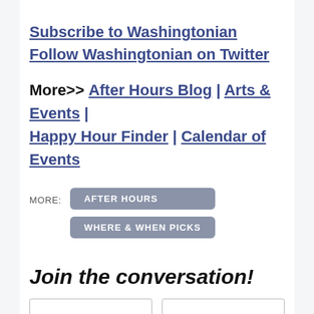Subscribe to Washingtonian
Follow Washingtonian on Twitter
More>> After Hours Blog | Arts & Events | Happy Hour Finder | Calendar of Events
MORE: AFTER HOURS WHERE & WHEN PICKS
Join the conversation!